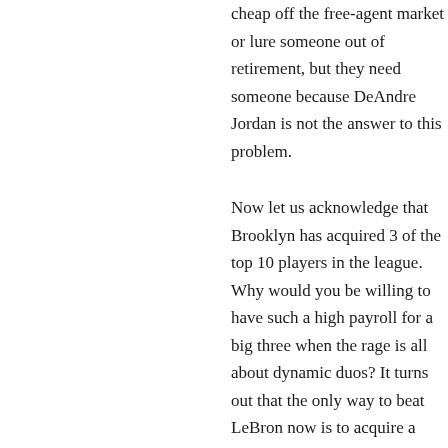cheap off the free-agent market or lure someone out of retirement, but they need someone because DeAndre Jordan is not the answer to this problem.
Now let us acknowledge that Brooklyn has acquired 3 of the top 10 players in the league. Why would you be willing to have such a high payroll for a big three when the rage is all about dynamic duos? It turns out that the only way to beat LeBron now is to acquire a minimum of 3 Hall